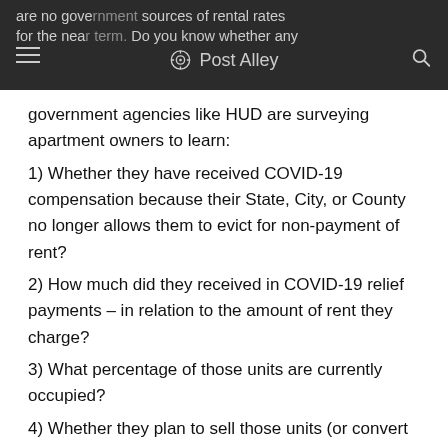are no government sources of rental rates for the near term. Do you know whether any — Post Alley 🔍
government agencies like HUD are surveying apartment owners to learn:
1) Whether they have received COVID-19 compensation because their State, City, or County no longer allows them to evict for non-payment of rent?
2) How much did they received in COVID-19 relief payments – in relation to the amount of rent they charge?
3) What percentage of those units are currently occupied?
4) Whether they plan to sell those units (or convert them to condos) in the next 12